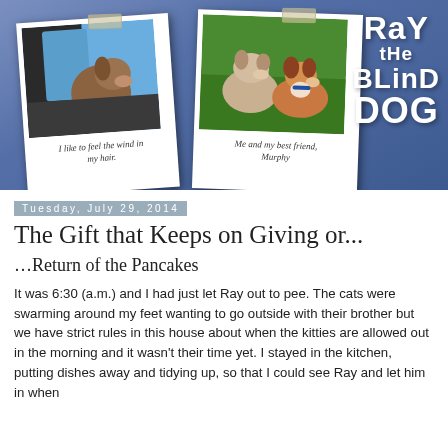[Figure (illustration): Blog header banner with blue gradient background, two polaroid-style dog photos with tape, and 'Ray the Blind Dog' logo text. Left photo: dog with head out car window, caption 'I like to feel the wind in my hair.' Right photo: two dogs on grass, caption 'Me and my best friend, Murphy']
Tuesday, July 29, 2014
The Gift that Keeps on Giving or...
…Return of the Pancakes
It was 6:30 (a.m.) and I had just let Ray out to pee. The cats were swarming around my feet wanting to go outside with their brother but we have strict rules in this house about when the kitties are allowed out in the morning and it wasn't their time yet. I stayed in the kitchen, putting dishes away and tidying up, so that I could see Ray and let him in when